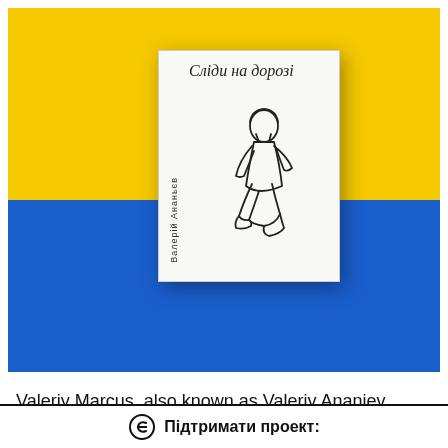[Figure (photo): A book titled 'Сліди на дорозі' by Валерій Ананьєв placed on a two-tone background split horizontally between yellow (top) and blue (bottom), resembling the Ukrainian flag. The book cover is white with a line drawing of a soldier kneeling.]
Valeriy Marcus, also known as Valeriy Ananiev (born 1993 in Pervomaisk in Mykolaiv Oblast, Ukraine) is a Ukrainian military veteran of the Russian-Ukrainian war, writer,
Підтримати проект: